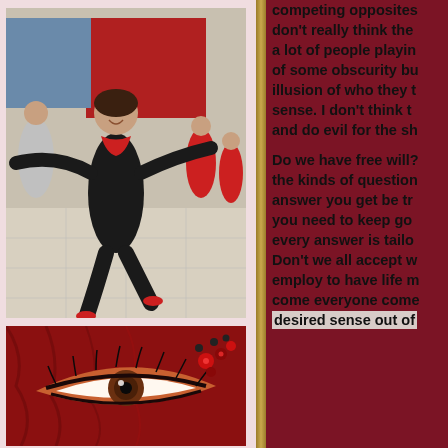[Figure (photo): A woman in black outfit dancing enthusiastically in what appears to be a shopping mall flash mob, arms outstretched, with other dancers in red and black in the background]
[Figure (photo): Close-up of a decorated eye with dramatic makeup, red fabric background, and beaded jewelry visible]
competing opposites don't really think the a lot of people playin of some obscurity bu illusion of who they t sense. I don't think t and do evil for the sh
Do we have free will? the kinds of question answer you get be tr you need to keep go every answer is tailo Don't we all accept w employ to have life m come everyone come desired sense out of